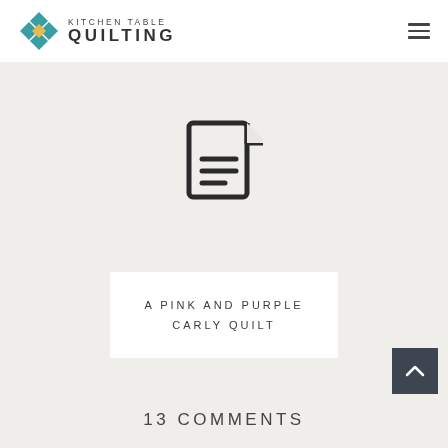KITCHEN TABLE QUILTING
[Figure (illustration): Document/file icon with three horizontal lines representing text content, shown in dark outline style on light gray background]
A PINK AND PURPLE CARLY QUILT
13 COMMENTS